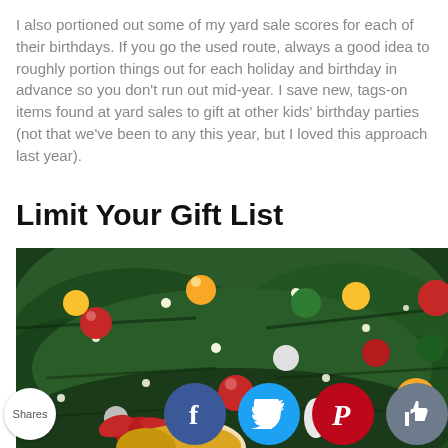I also portioned out some of my yard sale scores for each of their birthdays. If you go the used route, always a good idea to roughly portion things out for each holiday and birthday in advance so you don't run out mid-year. I save new, tags-on items found at yard sales to gift at other kids' birthday parties (not that we've been to any this year, but I loved this approach last year).
Limit Your Gift List
[Figure (photo): A decorated Christmas tree with colorful ornaments (red, gold, green, white) and twinkling lights. A child with a red bow in their hair is partially visible at the bottom.]
Shares